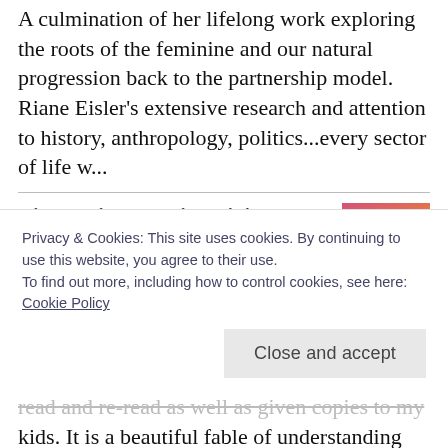A culmination of her lifelong work exploring the roots of the feminine and our natural progression back to the partnership model. Riane Eisler's extensive research and attention to history, anthropology, politics...every sector of life w...
Big Magic: Creative Living Beyond Fear
by Elizabeth Gilbert
[Figure (illustration): Book cover for Big Magic: Creative Living Beyond Fear — colorful gradient cover with title text]
Liz Gilbert's authenticity and beautiful writing inspired me to write my own book. The idea of creating your big magic is something we...
Privacy & Cookies: This site uses cookies. By continuing to use this website, you agree to their use.
To find out more, including how to control cookies, see here: Cookie Policy
Close and accept
read and re-read as well as given copies to my kids. It is a beautiful fable of understanding